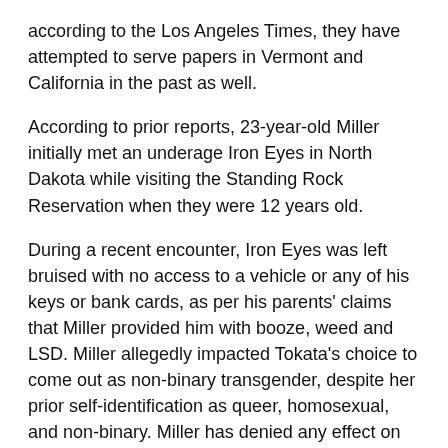according to the Los Angeles Times, they have attempted to serve papers in Vermont and California in the past as well.
According to prior reports, 23-year-old Miller initially met an underage Iron Eyes in North Dakota while visiting the Standing Rock Reservation when they were 12 years old.
During a recent encounter, Iron Eyes was left bruised with no access to a vehicle or any of his keys or bank cards, as per his parents' claims that Miller provided him with booze, weed and LSD. Miller allegedly impacted Tokata's choice to come out as non-binary transgender, despite her prior self-identification as queer, homosexual, and non-binary. Miller has denied any effect on her decision.